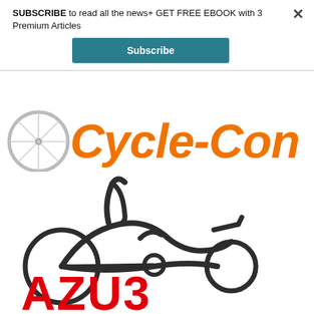SUBSCRIBE to read all the news+ GET FREE EBOOK with 3 Premium Articles
[Figure (other): Subscribe button — teal rectangular button with white text 'Subscribe']
[Figure (logo): Cycle-Con logo: bicycle wheel on the left with italic orange bold text 'Cycle-Con']
[Figure (logo): AZUB logo: abstract dark outline illustration of a recumbent bicycle above red bold block-letter text 'AZU3']